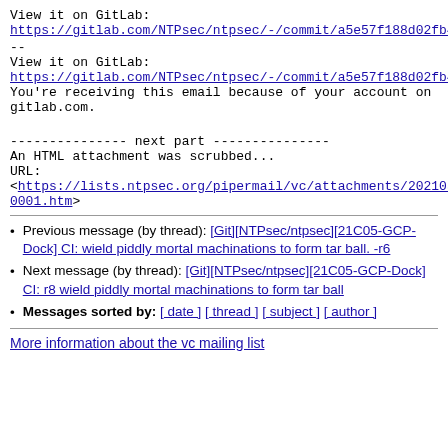View it on GitLab:
https://gitlab.com/NTPsec/ntpsec/-/commit/a5e57f188d02fb4
--
View it on GitLab:
https://gitlab.com/NTPsec/ntpsec/-/commit/a5e57f188d02fb4
You're receiving this email because of your account on gitlab.com.
--------------- next part ---------------
An HTML attachment was scrubbed...
URL:
<https://lists.ntpsec.org/pipermail/vc/attachments/202105...0001.htm>
Previous message (by thread): [Git][NTPsec/ntpsec][21C05-GCP-Dock] CI: wield piddly mortal machinations to form tar ball. -r6
Next message (by thread): [Git][NTPsec/ntpsec][21C05-GCP-Dock] CI: r8 wield piddly mortal machinations to form tar ball
Messages sorted by: [ date ] [ thread ] [ subject ] [ author ]
More information about the vc mailing list